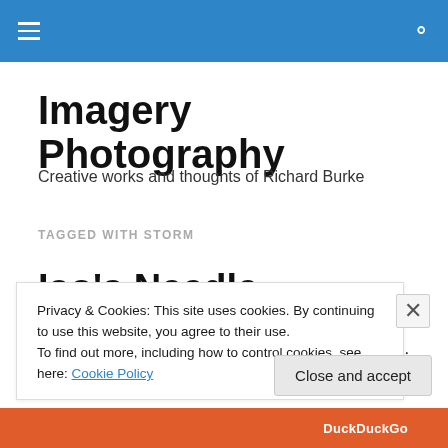Imagery Photography
Imagery Photography
Creative works and thoughts of Richard Burke
TAGGED WITH STORM
Iao's Needle
Every time we go to Maui we make sure we leave time to
Privacy & Cookies: This site uses cookies. By continuing to use this website, you agree to their use.
To find out more, including how to control cookies, see here: Cookie Policy
Close and accept